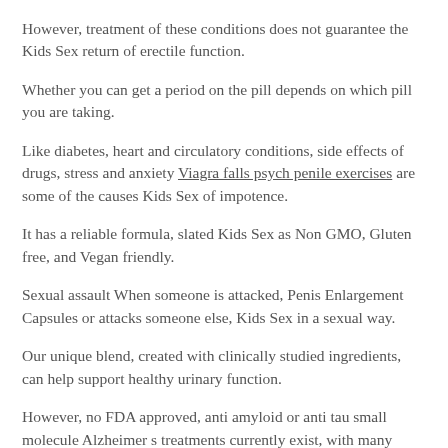However, treatment of these conditions does not guarantee the Kids Sex return of erectile function.
Whether you can get a period on the pill depends on which pill you are taking.
Like diabetes, heart and circulatory conditions, side effects of drugs, stress and anxiety Viagra falls psych penile exercises are some of the causes Kids Sex of impotence.
It has a reliable formula, slated Kids Sex as Non GMO, Gluten free, and Vegan friendly.
Sexual assault When someone is attacked, Penis Enlargement Capsules or attacks someone else, Kids Sex in a sexual way.
Our unique blend, created with clinically studied ingredients, can help support healthy urinary function.
However, no FDA approved, anti amyloid or anti tau small molecule Alzheimer s treatments currently exist, with many